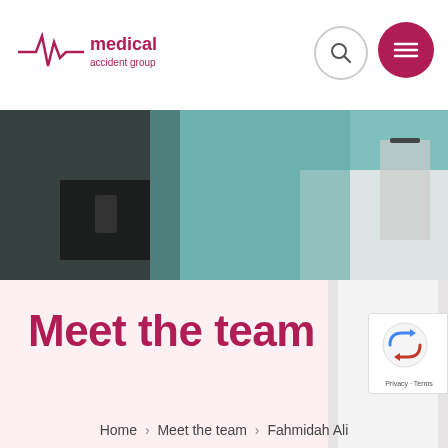Medical Accident Group — logo and navigation
[Figure (photo): Two people in a medical setting — one in dark clothing holding a phone, one in a white coat holding glasses, with a teal/mint background]
Meet the team
[Figure (other): reCAPTCHA badge with Privacy - Terms text]
Home > Meet the team > Fahmidah Ali